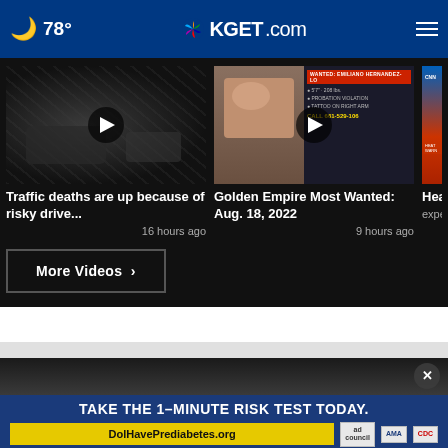🌙 78° | KGET.com
[Figure (screenshot): Video thumbnail of a traffic accident/crash scene]
Traffic deaths are up because of risky drive...
16 hours ago
[Figure (screenshot): Video thumbnail showing wanted poster for Emiliano Hernandez-Lo with mug shot, PROBATION VIOLATION, TATTOO ON RIGHT ARM, CALL 661-529-10[6]]
Golden Empire Most Wanted: Aug. 18, 2022
9 hours ago
[Figure (screenshot): Partial video thumbnail showing heat warning graphic]
Heat w... expec...
More Videos ›
[Figure (screenshot): Advertisement: TAKE THE 1-MINUTE RISK TEST TODAY. DolHavePrediabetes.org | ad council | AMA | CDC]